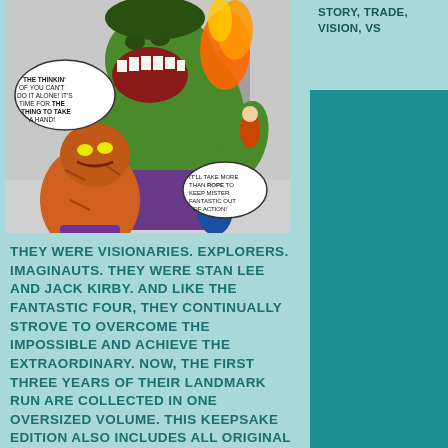[Figure (illustration): Comic book panel showing the Hulk and The Thing fighting, with speech bubbles. The Hulk is green and large, the Thing is orange and rocky. Other characters visible in the background including a man in a blue suit.]
THEY WERE VISIONARIES. EXPLORERS. IMAGINAUTS. THEY WERE STAN LEE AND JACK KIRBY. AND LIKE THE FANTASTIC FOUR, THEY CONTINUALLY STROVE TO OVERCOME THE IMPOSSIBLE AND ACHIEVE THE EXTRAORDINARY. NOW, THE FIRST THREE YEARS OF THEIR LANDMARK RUN ARE COLLECTED IN ONE OVERSIZED VOLUME. THIS KEEPSAKE EDITION ALSO INCLUDES ALL ORIGINAL
STORY, TRADE, VISION, VS